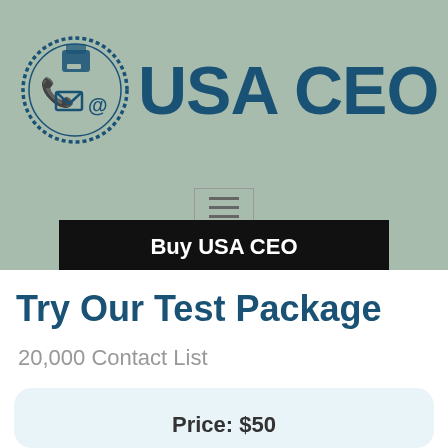[Figure (logo): USA CEO logo with circular stamp-style emblem containing phone, fax, and email icons, beside bold text 'USA CEO']
Try Our Test Package
20,000 Contact List
Price: $50